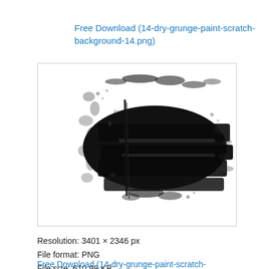Free Download (14-dry-grunge-paint-scratch-background-14.png)
[Figure (illustration): A black and white dry grunge paint scratch texture image on white background, with heavy black brushstroke marks and scattered paint splatters, resembling an abstract grunge design.]
Resolution: 3401 × 2346 px
File format: PNG
File size: 610.98 KB
Free Download (14-dry-grunge-paint-scratch-background-14.png)